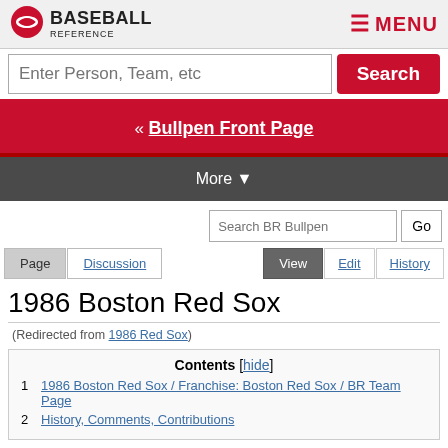Baseball Reference | MENU
Enter Person, Team, etc Search
« Bullpen Front Page
More ▼
Search BR Bullpen Go
Page | Discussion | View | Edit | History
1986 Boston Red Sox
(Redirected from 1986 Red Sox)
Contents [hide]
1 1986 Boston Red Sox / Franchise: Boston Red Sox / BR Team Page
2 History, Comments, Contributions